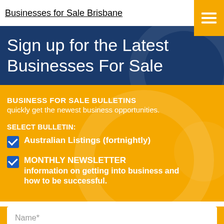Businesses for Sale Brisbane
Sign up for the Latest Businesses For Sale
BUSINESS FOR SALE BULLETINS quickly get the newest business opportunities.
SELECT BULLETIN:
Australian Listings (fortnightly)
MONTHLY NEWSLETTER information on getting into business and how to be successful.
Name*
Email Address*